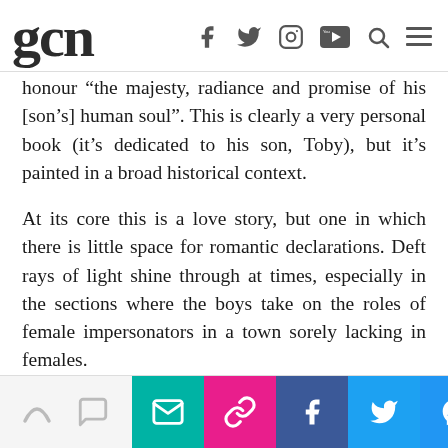gcn
honour “the majesty, radiance and promise of his [son’s] human soul”. This is clearly a very personal book (it’s dedicated to his son, Toby), but it’s painted in a broad historical context.
At its core this is a love story, but one in which there is little space for romantic declarations. Deft rays of light shine through at times, especially in the sections where the boys take on the roles of female impersonators in a town sorely lacking in females.
Share icons: email, link, facebook, twitter, messenger, whatsapp